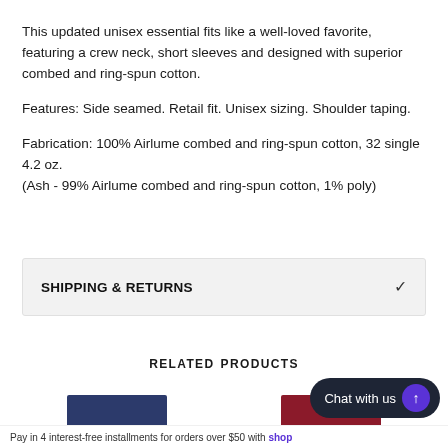This updated unisex essential fits like a well-loved favorite, featuring a crew neck, short sleeves and designed with superior combed and ring-spun cotton.
Features: Side seamed. Retail fit. Unisex sizing. Shoulder taping.
Fabrication: 100% Airlume combed and ring-spun cotton, 32 single 4.2 oz.
(Ash - 99% Airlume combed and ring-spun cotton, 1% poly)
SHIPPING & RETURNS
RELATED PRODUCTS
[Figure (photo): Two product thumbnail images partially visible at bottom: dark navy shirt on left, dark red/maroon shirt on right]
Pay in 4 interest-free installments for orders over $50 with shop